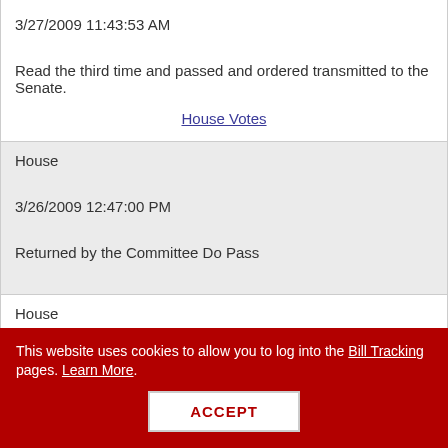| House | 3/27/2009 11:43:53 AM | Read the third time and passed and ordered transmitted to the Senate. | House Votes |
| House | 3/26/2009 12:47:00 PM | Returned by the Committee Do Pass |  |
| House | 3/24/2009 11:22:35 AM |  |  |
This website uses cookies to allow you to log into the Bill Tracking pages. Learn More.